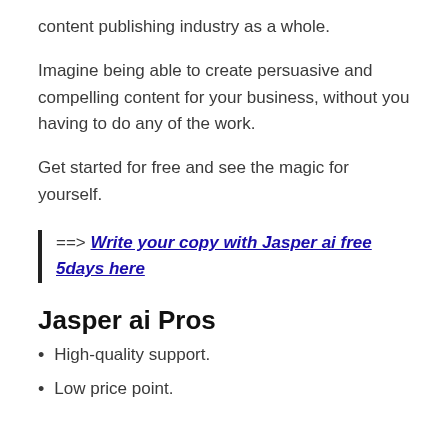content publishing industry as a whole.
Imagine being able to create persuasive and compelling content for your business, without you having to do any of the work.
Get started for free and see the magic for yourself.
==> Write your copy with Jasper ai free 5days here
Jasper ai Pros
High-quality support.
Low price point.